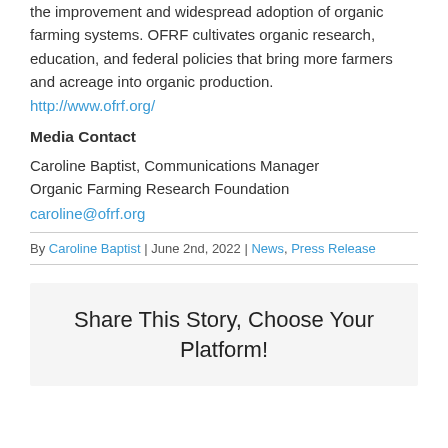the improvement and widespread adoption of organic farming systems. OFRF cultivates organic research, education, and federal policies that bring more farmers and acreage into organic production.
http://www.ofrf.org/
Media Contact
Caroline Baptist, Communications Manager
Organic Farming Research Foundation
caroline@ofrf.org
By Caroline Baptist | June 2nd, 2022 | News, Press Release
Share This Story, Choose Your Platform!